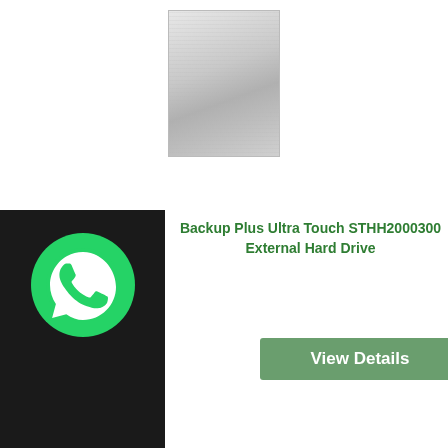[Figure (photo): Silver/white Seagate external hard drive product photo, top section]
View Details
[Figure (logo): WhatsApp logo icon on black background sidebar]
Backup Plus Ultra Touch STHH2000300 External Hard Drive
[Figure (photo): Black Seagate Backup Plus Ultra Touch external hard drive product photo]